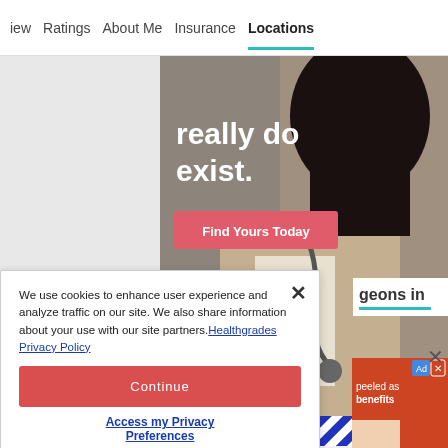iew   Ratings   About Me   Insurance   Locations
[Figure (photo): Healthgrades advertisement banner showing a female doctor/professional in a beige blazer with a stethoscope. Text reads 'really do exist.' with a pink 'Find Yours Today' button and Healthgrades logo. Blue diagonal stripe at bottom.]
We use cookies to enhance user experience and analyze traffic on our site. We also share information about your use with our site partners. Healthgrades Privacy Policy
Continue
Access my Privacy Preferences
geons in
[Figure (screenshot): Partial advertisement visible on right side with text 'peeled as benefits']